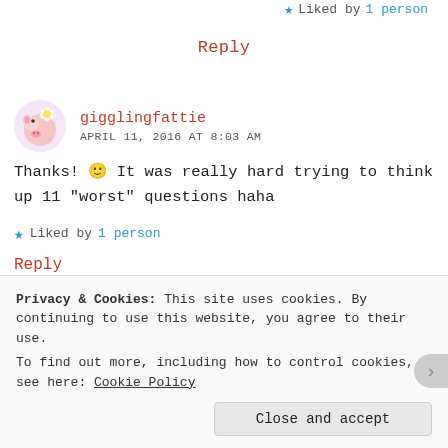Liked by 1 person
Reply
gigglingfattie
APRIL 11, 2016 AT 8:03 AM
Thanks! 🙂 It was really hard trying to think up 11 "worst" questions haha
Liked by 1 person
Reply
fattymocupcakes
Privacy & Cookies: This site uses cookies. By continuing to use this website, you agree to their use.
To find out more, including how to control cookies, see here: Cookie Policy
Close and accept